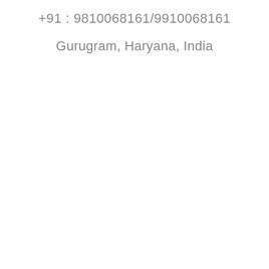+91 : 9810068161/9910068161
Gurugram, Haryana, India